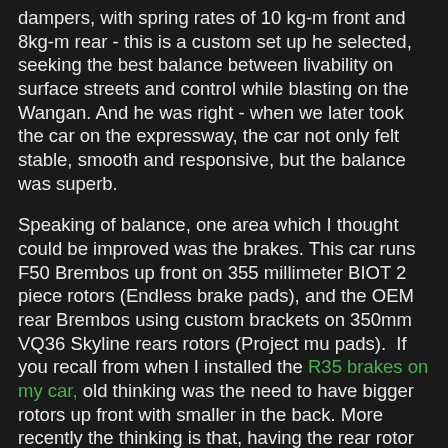dampers, with spring rates of 10 kg-m front and 8kg-m rear - this is a custom set up he selected, seeking the best balance between livability on surface streets and control while blasting on the Wangan. And he was right - when we later took the car on the expressway, the car not only felt stable, smooth and responsive, but the balance was superb.
Speaking of balance, one area which I thought could be improved was the brakes. This car runs F50 Brembos up front on 355 millimeter BIOT 2 piece rotors (Endless brake pads), and the OEM rear Brembos using custom brackets on 350mm VQ36 Skyline rears rotors (Project mu pads).  If you recall from when I installed the R35 brakes on my car, old thinking was the need to have bigger rotors up front with smaller in the back. More recently the thinking is that, having the rear rotor almost as large as the front can only help and in fact contribute to more stability. Nissan apparently realized this during the production run of the RB26 GT-Rs, which is why the last R34s had larger OEM rear rotors.
In fact this set up is now a popular conversion in Japan, giving great stopping power at a very reasonable price,